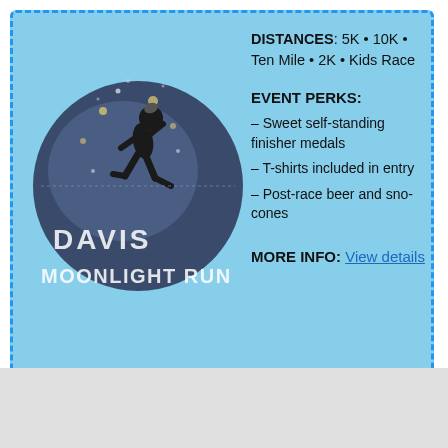[Figure (logo): Davis Moonlight Run event logo: a dark circular moon with a running figure silhouette and the text DAVIS MOONLIGHT RUN in white pixel/retro font, against a light blue background card]
DISTANCES: 5K · 10K · Ten Mile · 2K · Kids Race
EVENT PERKS:
– Sweet self-standing finisher medals
– T-shirts included in entry
– Post-race beer and sno-cones
MORE INFO: View details